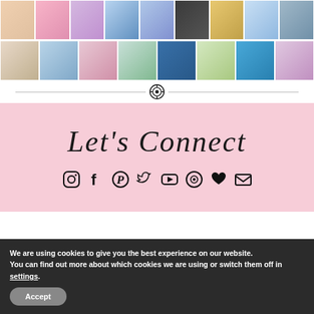[Figure (photo): Grid of fashion/lifestyle Instagram-style photos, top row showing clothing and outfits]
[Figure (photo): Grid of fashion/lifestyle Instagram-style photos, bottom row showing group/family photos outdoors]
[Figure (logo): Circular icon divider with heart/target symbol]
Let's Connect
[Figure (infographic): Row of social media icons: Instagram, Facebook, Pinterest, Twitter, YouTube, LikeToKnowIt, Heart, Email]
We are using cookies to give you the best experience on our website.
You can find out more about which cookies we are using or switch them off in settings.
Accept